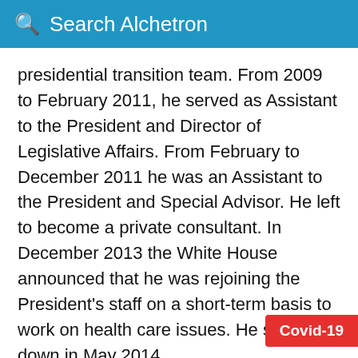Search Alchetron
presidential transition team. From 2009 to February 2011, he served as Assistant to the President and Director of Legislative Affairs. From February to December 2011 he was an Assistant to the President and Special Advisor. He left to become a private consultant. In December 2013 the White House announced that he was rejoining the President's staff on a short-term basis to work on health care issues. He stepped down in May 2014.
From the early 1980s until 2008, he served in a number of congressional staff positions, notably as Democratic Chief of Staff for the United States House Committee on Oversight and Gov
Covid-19